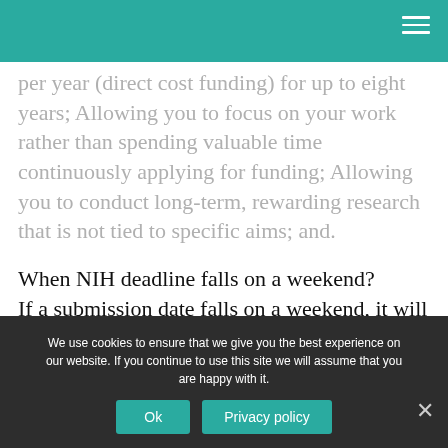per year (direct cost funding) for up to eight years; Allowing you to focus on your work rather than spending valuable time continuously applying for funding; Allowing you to conduct long-term, rewarding research that is not tied to specific aims; and.
When NIH deadline falls on a weekend?
If a submission date falls on a weekend, it will be extended to the following Monday; any
We use cookies to ensure that we give you the best experience on our website. If you continue to use this site we will assume that you are happy with it.